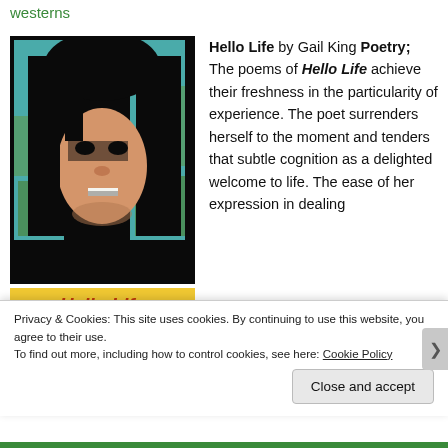westerns
[Figure (illustration): Book cover of 'Hello Life' showing a stylized pop-art portrait of a woman with dark hair against a teal and green background, with a yellow banner at the bottom reading 'Hello Life' in orange italic text.]
Hello Life by Gail King Poetry; The poems of Hello Life achieve their freshness in the particularity of experience. The poet surrenders herself to the moment and tenders that subtle cognition as a delighted welcome to life. The ease of her expression in dealing
Privacy & Cookies: This site uses cookies. By continuing to use this website, you agree to their use.
To find out more, including how to control cookies, see here: Cookie Policy
Close and accept